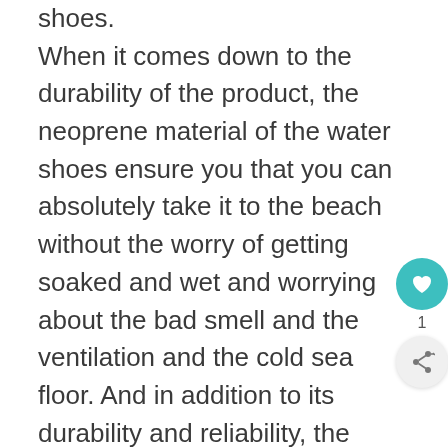to choosing the sizes for your water shoes. When it comes down to the durability of the product, the neoprene material of the water shoes ensure you that you can absolutely take it to the beach without the worry of getting soaked and wet and worrying about the bad smell and the ventilation and the cold sea floor. And in addition to its durability and reliability, the rubber material of the water shoes adds to its comfort and durability as well as elasticity in its build. The shoes are very easy to take off and put on due to its easy slip on style, as compared to other kinds of water shoes out there.